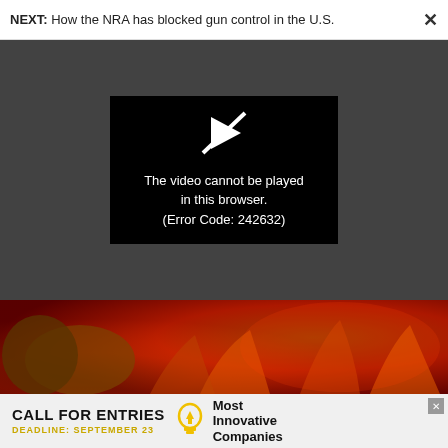NEXT: How the NRA has blocked gun control in the U.S.
[Figure (screenshot): Black video player box showing a crossed-out play icon and error message: 'The video cannot be played in this browser. (Error Code: 242632)']
[Figure (photo): Close-up photo of burning/fire scene with orange and red flames, showing what appears to be rocks or material on fire]
[Figure (other): Advertisement banner: CALL FOR ENTRIES, DEADLINE: SEPTEMBER 23, Most Innovative Companies, with a lightbulb icon]